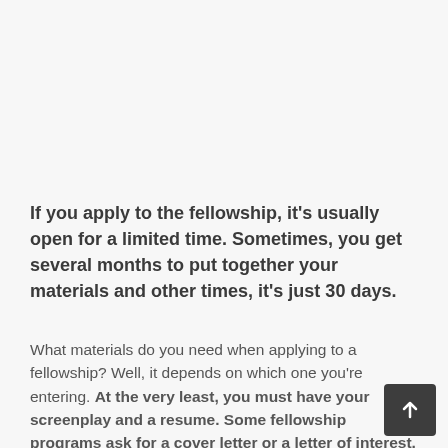If you apply to the fellowship, it's usually open for a limited time. Sometimes, you get several months to put together your materials and other times, it's just 30 days.
What materials do you need when applying to a fellowship? Well, it depends on which one you're entering. At the very least, you must have your screenplay and a resume. Some fellowship programs ask for a cover letter or a letter of interest, others want a personal statement, and more still will ask for letters of recommendation.